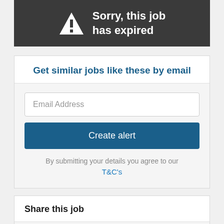[Figure (infographic): Dark grey banner with white warning triangle icon and exclamation mark, with text 'Sorry, this job has expired']
Get similar jobs like these by email
Email Address
Create alert
By submitting your details you agree to our T&C's
Share this job